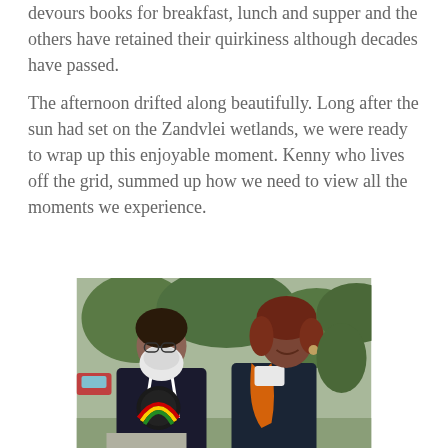devours books for breakfast, lunch and supper and the others have retained their quirkiness although decades have passed.
The afternoon drifted along beautifully. Long after the sun had set on the Zandvlei wetlands, we were ready to wrap up this enjoyable moment. Kenny who lives off the grid, summed up how we need to view all the moments we experience.
[Figure (photo): Two people posing together outdoors in a park setting. On the left, a man with a large white beard wearing glasses and a dark hoodie over a Rastafarian-themed t-shirt with red, gold, and green design. On the right, a woman with curly reddish-brown hair and an orange scarf, wearing a dark jacket.]